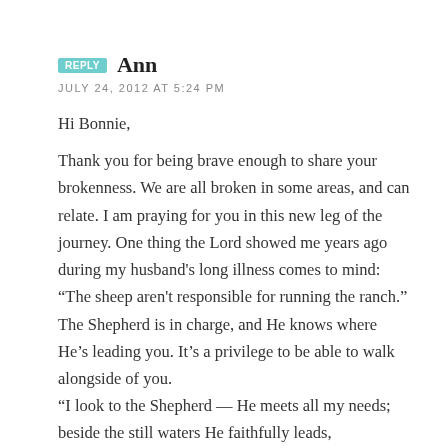REPLY  Ann
JULY 24, 2012 AT 5:24 PM
Hi Bonnie,
Thank you for being brave enough to share your brokenness. We are all broken in some areas, and can relate. I am praying for you in this new leg of the journey. One thing the Lord showed me years ago during my husband's long illness comes to mind: “The sheep aren't responsible for running the ranch.” The Shepherd is in charge, and He knows where He's leading you. It's a privilege to be able to walk alongside of you.
“I look to the Shepherd — He meets all my needs;
beside the still waters He faithfully leads,
bringing peace to my soul, as His love makes me whole.